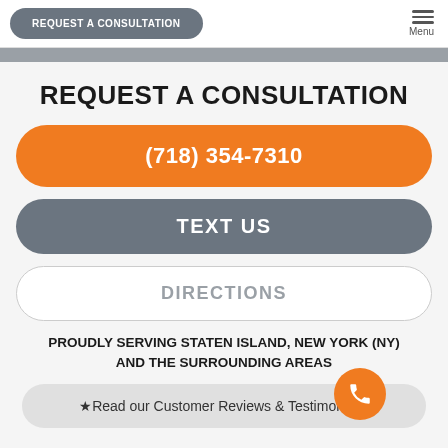REQUEST A CONSULTATION | Menu
REQUEST A CONSULTATION
(718) 354-7310
TEXT US
DIRECTIONS
PROUDLY SERVING STATEN ISLAND, NEW YORK (NY) AND THE SURROUNDING AREAS
⭐Read our Customer Reviews & Testimonials!